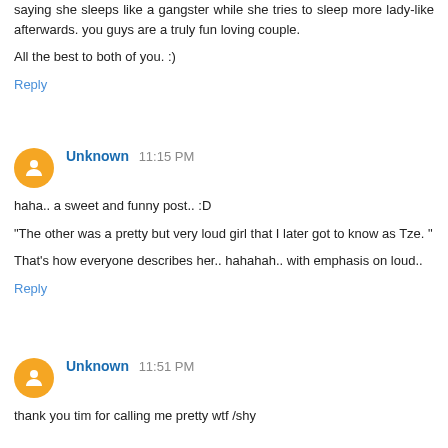saying she sleeps like a gangster while she tries to sleep more lady-like afterwards. you guys are a truly fun loving couple.
All the best to both of you. :)
Reply
Unknown 11:15 PM
haha.. a sweet and funny post.. :D
"The other was a pretty but very loud girl that I later got to know as Tze. "
That's how everyone describes her.. hahahah.. with emphasis on loud..
Reply
Unknown 11:51 PM
thank you tim for calling me pretty wtf /shy